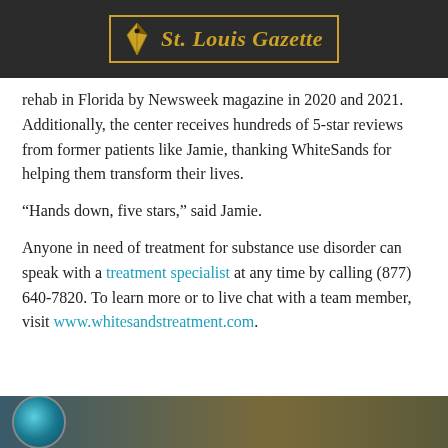St. Louis Gazette
rehab in Florida by Newsweek magazine in 2020 and 2021. Additionally, the center receives hundreds of 5-star reviews from former patients like Jamie, thanking WhiteSands for helping them transform their lives.
“Hands down, five stars,” said Jamie.
Anyone in need of treatment for substance use disorder can speak with a treatment specialist at any time by calling (877) 640-7820. To learn more or to live chat with a team member, visit www.whitesandstreatment.com.
[Figure (photo): Partial view of a circular logo or image at the bottom of the page, with teal and dark colors, against a dark brownish-green background strip.]